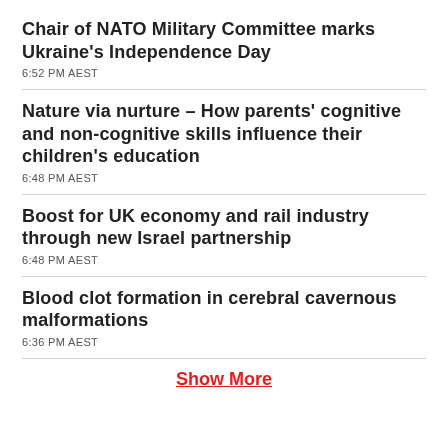Chair of NATO Military Committee marks Ukraine's Independence Day
6:52 PM AEST
Nature via nurture – How parents' cognitive and non-cognitive skills influence their children's education
6:48 PM AEST
Boost for UK economy and rail industry through new Israel partnership
6:48 PM AEST
Blood clot formation in cerebral cavernous malformations
6:36 PM AEST
Show More